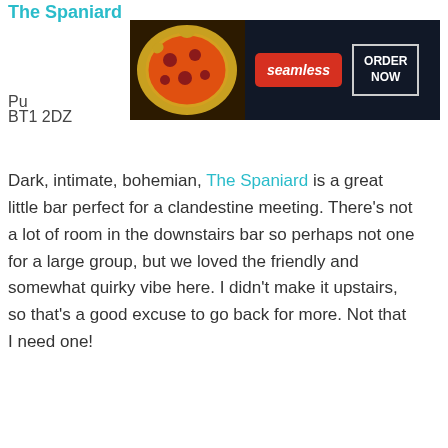The Spaniard
[Figure (screenshot): Seamless food delivery advertisement banner with pizza image, seamless red logo, and ORDER NOW button on dark background]
BT1 2DZ
Dark, intimate, bohemian, The Spaniard is a great little bar perfect for a clandestine meeting. There's not a lot of room in the downstairs bar so perhaps not one for a large group, but we loved the friendly and somewhat quirky vibe here. I didn't make it upstairs, so that's a good excuse to go back for more. Not that I need one!
[Figure (photo): Partial exterior photograph of a building with dark roof/awning against cloudy sky, with CLOSE button overlay]
[Figure (screenshot): Bloomingdales advertisement showing logo, 'View Today's Top Deals!' text, woman with hat, and SHOP NOW button]